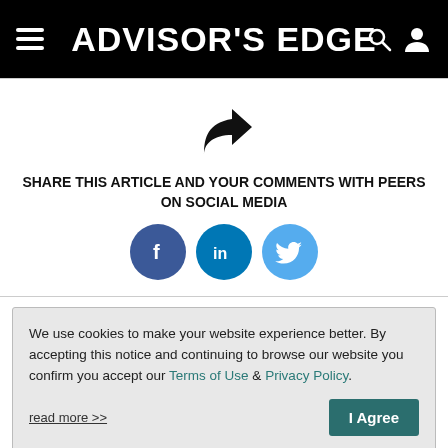ADVISOR'S EDGE
[Figure (illustration): Share arrow icon (forward/share symbol)]
SHARE THIS ARTICLE AND YOUR COMMENTS WITH PEERS ON SOCIAL MEDIA
[Figure (illustration): Social media icons: Facebook, LinkedIn, Twitter]
We use cookies to make your website experience better. By accepting this notice and continuing to browse our website you confirm you accept our Terms of Use & Privacy Policy.
read more >>
I Agree